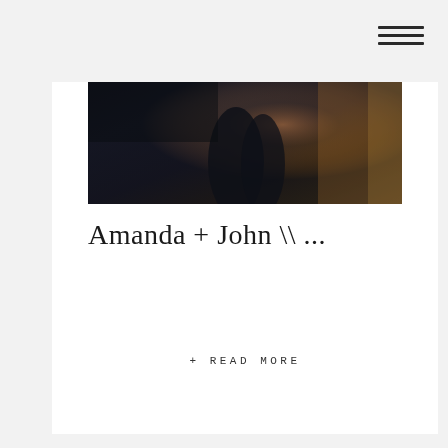[Figure (photo): Hamburger menu icon with three horizontal lines in top right corner]
[Figure (photo): Couple embracing outdoors in warm autumn light, dark tones with warm amber highlights]
Amanda + John \\ ...
+ READ MORE